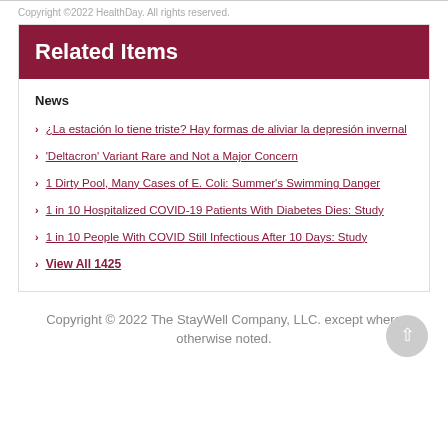Copyright © 2022 HealthDay. All rights reserved.
Related Items
News
¿La estación lo tiene triste? Hay formas de aliviar la depresión invernal
'Deltacron' Variant Rare and Not a Major Concern
1 Dirty Pool, Many Cases of E. Coli: Summer's Swimming Danger
1 in 10 Hospitalized COVID-19 Patients With Diabetes Dies: Study
1 in 10 People With COVID Still Infectious After 10 Days: Study
View All 1425
Copyright © 2022 The StayWell Company, LLC. except where otherwise noted.